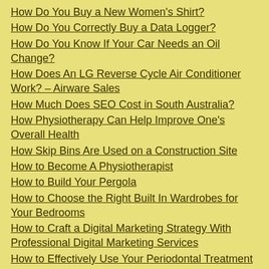How Do You Buy a New Women's Shirt?
How Do You Correctly Buy a Data Logger?
How Do You Know If Your Car Needs an Oil Change?
How Does An LG Reverse Cycle Air Conditioner Work? – Airware Sales
How Much Does SEO Cost in South Australia?
How Physiotherapy Can Help Improve One's Overall Health
How Skip Bins Are Used on a Construction Site
How to Become A Physiotherapist
How to Build Your Pergola
How to Choose the Right Built In Wardrobes for Your Bedrooms
How to Craft a Digital Marketing Strategy With Professional Digital Marketing Services
How to Effectively Use Your Periodontal Treatment
How to Execute Proper Roller-Door-Repairs
How to Find the Ideal Meeting Room for Your Next Event
How to Get Affordable Waste Removal Services